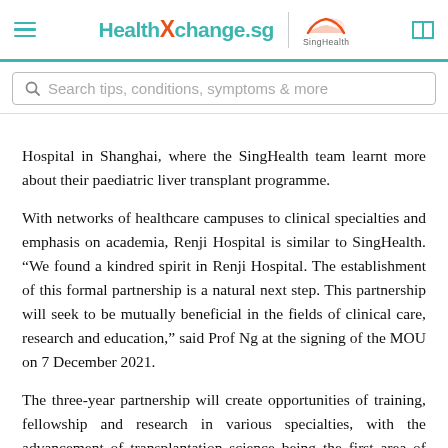HealthXchange.sg | SingHealth
Hospital in Shanghai, where the SingHealth team learnt more about their paediatric liver transplant programme.
With networks of healthcare campuses to clinical specialties and emphasis on academia, Renji Hospital is similar to SingHealth. “We found a kindred spirit in Renji Hospital. The establishment of this formal partnership is a natural next step. This partnership will seek to be mutually beneficial in the fields of clinical care, research and education,” said Prof Ng at the signing of the MOU on 7 December 2021.
The three-year partnership will create opportunities of training, fellowship and research in various specialties, with the advancement of transplantation science being the first area of focus. “Renji Hospital also has an impressive 98%